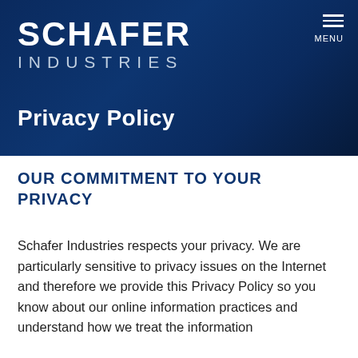SCHAFER INDUSTRIES
Privacy Policy
OUR COMMITMENT TO YOUR PRIVACY
Schafer Industries respects your privacy. We are particularly sensitive to privacy issues on the Internet and therefore we provide this Privacy Policy so you know about our online information practices and understand how we treat the information